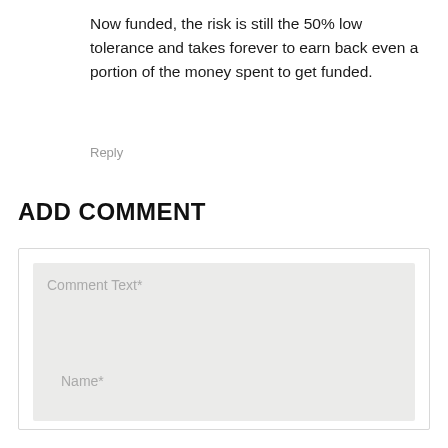Now funded, the risk is still the 50% low tolerance and takes forever to earn back even a portion of the money spent to get funded.
Reply
ADD COMMENT
[Figure (screenshot): Comment form with a large textarea labeled 'Comment Text*' and a smaller input field labeled 'Name*']